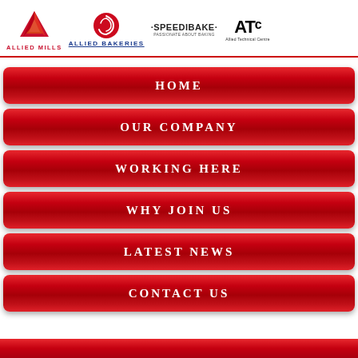[Figure (logo): Allied Mills logo with red pyramid/mountain icon and red text ALLIED MILLS]
[Figure (logo): Allied Bakeries logo with red circular swirl icon and blue underlined text ALLIED BAKERIES]
[Figure (logo): Speedibake logo with bold text SPEEDIBAKE and tagline PASSIONATE ABOUT BAKING]
[Figure (logo): ATC Allied Technical Centre logo with bold black text ATC and subtitle Allied Technical Centre]
HOME
OUR COMPANY
WORKING HERE
WHY JOIN US
LATEST NEWS
CONTACT US